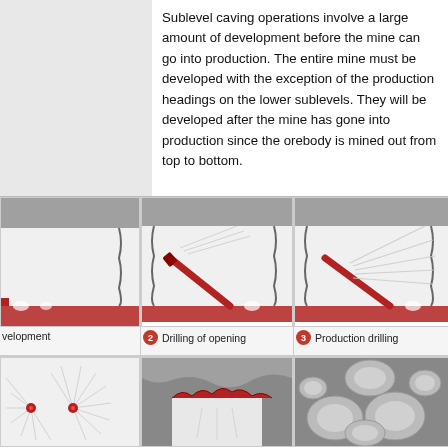Sublevel caving operations involve a large amount of development before the mine can go into production. The entire mine must be developed with the exception of the production headings on the lower sublevels. They will be developed after the mine has gone into production since the orebody is mined out from top to bottom.
[Figure (engineering-diagram): Row of three engineering diagrams showing sublevel caving steps: (1) Development - tunnel cross-section with ore at floor, (2) Drilling of opening - drill rig angled into face, (3) Production drilling - completed fan drill pattern]
[Figure (engineering-diagram): Row of three engineering diagrams showing sublevel caving steps: blasting with fan pattern, ore flow/mucking, and caved rock filling void]